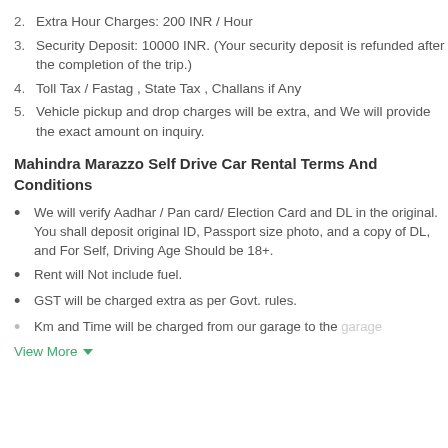2. Extra Hour Charges: 200 INR / Hour
3. Security Deposit: 10000 INR. (Your security deposit is refunded after the completion of the trip.)
4. Toll Tax / Fastag , State Tax , Challans if Any
5. Vehicle pickup and drop charges will be extra, and We will provide the exact amount on inquiry.
Mahindra Marazzo Self Drive Car Rental Terms And Conditions
We will verify Aadhar / Pan card/ Election Card and DL in the original. You shall deposit original ID, Passport size photo, and a copy of DL, and For Self, Driving Age Should be 18+.
Rent will Not include fuel.
GST will be charged extra as per Govt. rules.
Km and Time will be charged from our garage to the garage
View More ▾